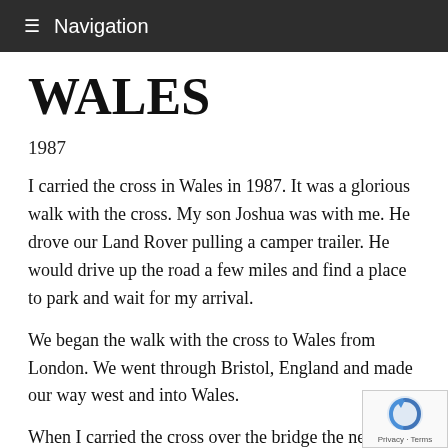≡ Navigation
WALES
1987
I carried the cross in Wales in 1987. It was a glorious walk with the cross. My son Joshua was with me. He drove our Land Rover pulling a camper trailer. He would drive up the road a few miles and find a place to park and wait for my arrival.
We began the walk with the cross to Wales from London. We went through Bristol, England and made our way west and into Wales.
When I carried the cross over the bridge the new media met us and word quickly spread that we w carrying the cross in Wales.